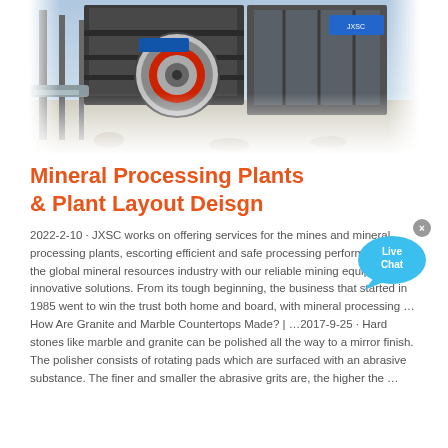[Figure (photo): Industrial mineral processing plant machinery with metal structures, a large circular red component (crusher or mill), and equipment in an outdoor setting with blue sky.]
Mineral Processing Plants & Plant Layout Deisgn
2022-2-10 · JXSC works on offering services for the mines and mineral processing plants, escorting efficient and safe processing performance in the global mineral resources industry with our reliable mining equipment and innovative solutions. From its tough beginning, the business that started in 1985 went to win the trust both home and board, with mineral processing …How Are Granite and Marble Countertops Made? | …2017-9-25 · Hard stones like marble and granite can be polished all the way to a mirror finish. The polisher consists of rotating pads which are surfaced with an abrasive substance. The finer and smaller the abrasive grits are, the higher the …
[Figure (illustration): Live Chat speech bubble icon in blue with white text 'Live Chat' and a close (x) button.]